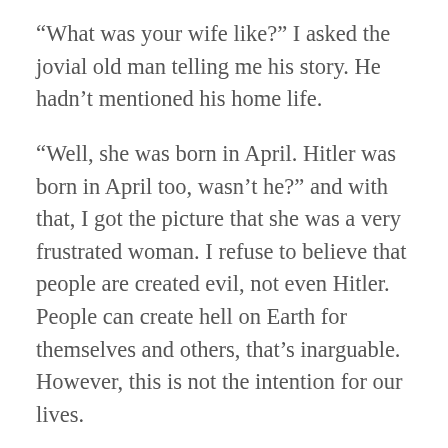“What was your wife like?” I asked the jovial old man telling me his story. He hadn’t mentioned his home life.
“Well, she was born in April. Hitler was born in April too, wasn’t he?” and with that, I got the picture that she was a very frustrated woman. I refuse to believe that people are created evil, not even Hitler. People can create hell on Earth for themselves and others, that’s inarguable. However, this is not the intention for our lives.
I believe we come to this Earth sinners and somehow, through trials and tribulations, we are to heal and that to me means we don’t return in the flesh form to the physical world.